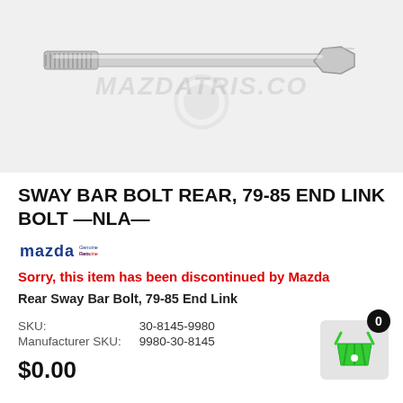[Figure (photo): Product image of a long bolt/screw with threaded end, shown horizontally on a light gray background with MAZDATRIS.CO watermark]
SWAY BAR BOLT REAR, 79-85 END LINK BOLT —NLA—
[Figure (logo): Mazda genuine parts logo in blue]
Sorry, this item has been discontinued by Mazda
Rear Sway Bar Bolt, 79-85 End Link
| SKU: | 30-8145-9980 |
| Manufacturer SKU: | 9980-30-8145 |
$0.00